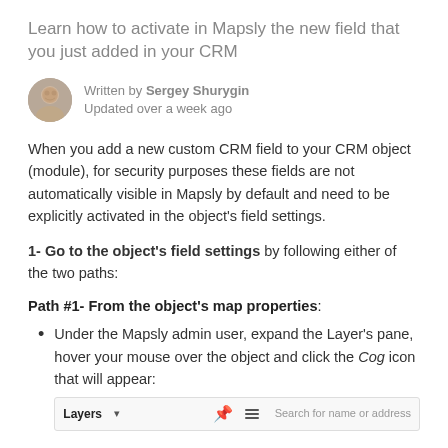Learn how to activate in Mapsly the new field that you just added in your CRM
Written by Sergey Shurygin
Updated over a week ago
When you add a new custom CRM field to your CRM object (module), for security purposes these fields are not automatically visible in Mapsly by default and need to be explicitly activated in the object's field settings.
1- Go to the object's field settings by following either of the two paths:
Path #1- From the object's map properties:
Under the Mapsly admin user, expand the Layer's pane, hover your mouse over the object and click the Cog icon that will appear:
[Figure (screenshot): UI bar showing Layers dropdown, pin icon, menu icon, and search bar reading 'Search for name or address']